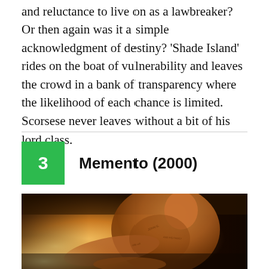and reluctance to live on as a lawbreaker? Or then again was it a simple acknowledgment of destiny? 'Shade Island' rides on the boat of vulnerability and leaves the crowd in a bank of transparency where the likelihood of each chance is limited. Scorsese never leaves without a bit of his lord class.
3   Memento (2000)
[Figure (photo): A shirtless man with tattoos covering his body sits leaning forward, writing or reading something. The image is warm-toned with dramatic lighting from behind, suggesting a scene from the film Memento (2000).]